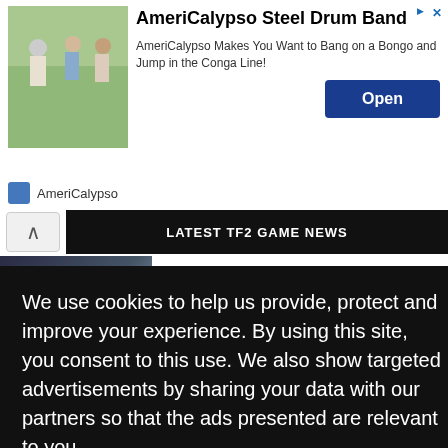[Figure (screenshot): Advertisement banner for AmeriCalypso Steel Drum Band showing people dancing, with Open button and brand name]
AmeriCalypso Steel Drum Band
AmeriCalypso Makes You Want to Bang on a Bongo and Jump in the Conga Line!
AmeriCalypso
[Figure (screenshot): Website content showing LATEST TF2 GAME NEWS header and World of Tanks Update 1.18 article]
LATEST TF2 GAME NEWS
World of Tanks Update 1.18
We use cookies to help us provide, protect and improve your experience. By using this site, you consent to this use. We also show targeted advertisements by sharing your data with our partners so that the ads presented are relevant to you.
Privacy Policy
Decline
Allow cookies
Top
Statement